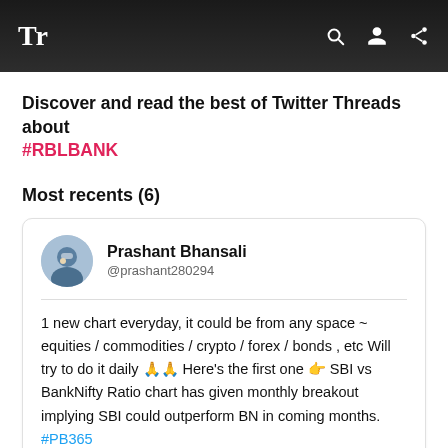Tr
Discover and read the best of Twitter Threads about #RBLBANK
Most recents (6)
Prashant Bhansali @prashant280294
1 new chart everyday, it could be from any space ~ equities / commodities / crypto / forex / bonds , etc Will try to do it daily 🙏🙏 Here's the first one 👉 SBI vs BankNifty Ratio chart has given monthly breakout implying SBI could outperform BN in coming months. #PB365